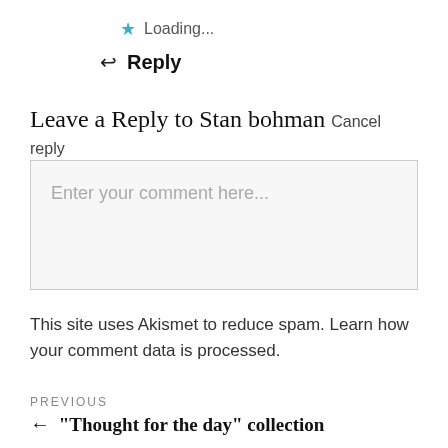★ Loading...
↩ Reply
Leave a Reply to Stan bohman Cancel reply
Enter your comment here...
This site uses Akismet to reduce spam. Learn how your comment data is processed.
PREVIOUS
← "Thought for the day" collection